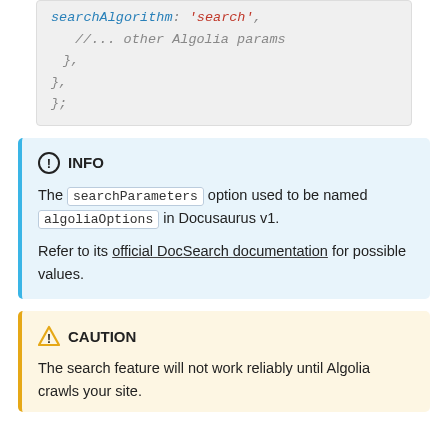searchAlgorithm: 'search',
        //... other Algolia params
    },
  },
};
INFO
The searchParameters option used to be named algoliaOptions in Docusaurus v1.

Refer to its official DocSearch documentation for possible values.
CAUTION
The search feature will not work reliably until Algolia crawls your site.